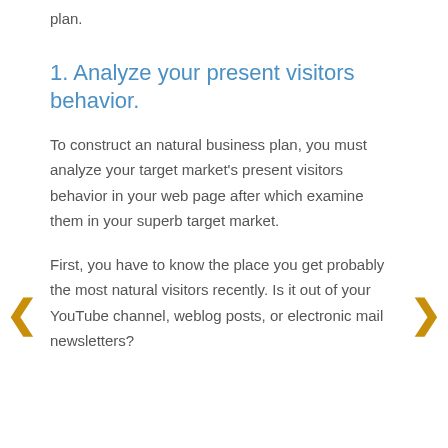plan.
1. Analyze your present visitors behavior.
To construct an natural business plan, you must analyze your target market's present visitors behavior in your web page after which examine them in your superb target market.
First, you have to know the place you get probably the most natural visitors recently. Is it out of your YouTube channel, weblog posts, or electronic mail newsletters?